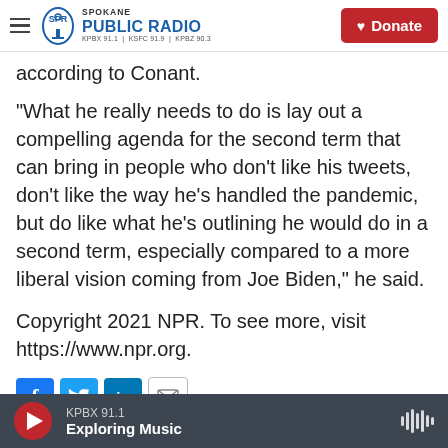Spokane Public Radio — KPBX 91.1 | KSFC 91.9 | KPBZ 90.3 | Donate
according to Conant.
"What he really needs to do is lay out a compelling agenda for the second term that can bring in people who don't like his tweets, don't like the way he's handled the pandemic, but do like what he's outlining he would do in a second term, especially compared to a more liberal vision coming from Joe Biden," he said.
Copyright 2021 NPR. To see more, visit https://www.npr.org.
KPBX 91.1 — Exploring Music